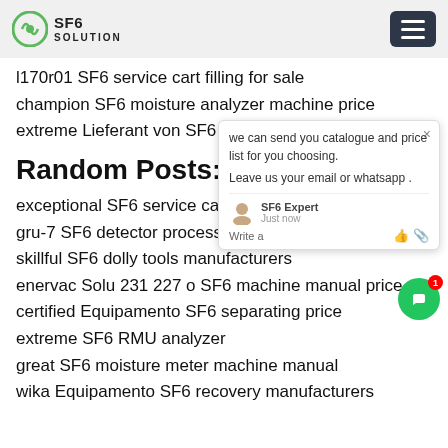SF6 SOLUTION
l170r01 SF6 service cart filling for sale
champion SF6 moisture analyzer machine price
extreme Lieferant von SF6 separating unit prices
Random Posts:
exceptional SF6 service cart Analysis fo
gru-7 SF6 detector process
skillful SF6 dolly tools manufacturers
enervac Solu 231 227 o SF6 machine manual price
certified Equipamento SF6 separating price
extreme SF6 RMU analyzer
great SF6 moisture meter machine manual
wika Equipamento SF6 recovery manufacturers